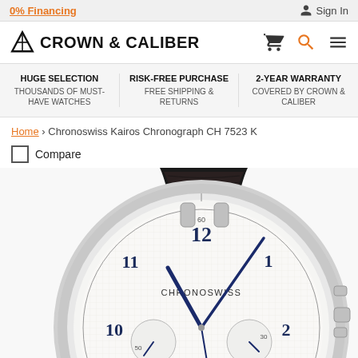0% Financing | Sign In
[Figure (logo): Crown & Caliber logo with X triangle icon]
HUGE SELECTION THOUSANDS OF MUST-HAVE WATCHES | RISK-FREE PURCHASE FREE SHIPPING & RETURNS | 2-YEAR WARRANTY COVERED BY CROWN & CALIBER
Home › Chronoswiss Kairos Chronograph CH 7523 K
Compare
[Figure (photo): Chronoswiss Kairos Chronograph CH 7523 K watch with black leather strap, silver case, white dial with chronograph subdials, blue hands, Chronoswiss text on dial]